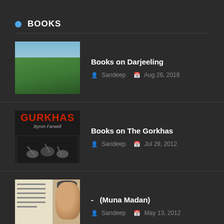BOOKS
Books on Darjeeling
Sandeep  Aug 26, 2018
Books on The Gorkhas
Sandeep  Jul 29, 2012
- (Muna Madan)
Sandeep  May 13, 2012
DARJEELING TEA